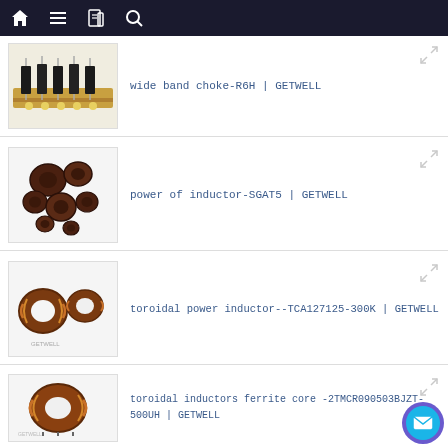Navigation bar with home, menu, book, and search icons
[Figure (photo): Wide band choke R6H components on tape reel]
wide band choke-R6H | GETWELL
[Figure (photo): Power inductors SGAT5 - multiple toroidal components]
power of inductor-SGAT5 | GETWELL
[Figure (photo): Toroidal power inductor TCA127125-300K components]
toroidal power inductor--TCA127125-300K | GETWELL
[Figure (photo): Toroidal inductors ferrite core 2TMCR090503BJZT-500UH component]
toroidal inductors ferrite core -2TMCR090503BJZT-500UH | GETWELL